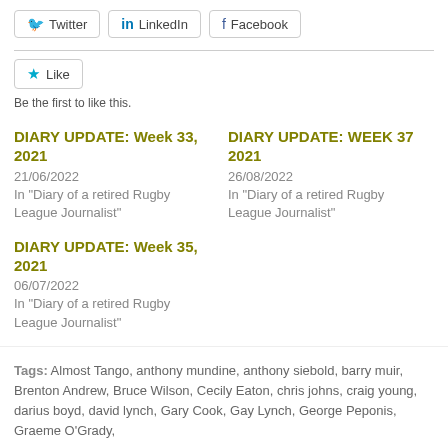[Figure (other): Social share buttons: Twitter, LinkedIn, Facebook]
[Figure (other): Like button widget with star icon]
Be the first to like this.
DIARY UPDATE: Week 33, 2021
21/06/2022
In "Diary of a retired Rugby League Journalist"
DIARY UPDATE: WEEK 37 2021
26/08/2022
In "Diary of a retired Rugby League Journalist"
DIARY UPDATE: Week 35, 2021
06/07/2022
In "Diary of a retired Rugby League Journalist"
Tags: Almost Tango, anthony mundine, anthony siebold, barry muir, Brenton Andrew, Bruce Wilson, Cecily Eaton, chris johns, craig young, darius boyd, david lynch, Gary Cook, Gay Lynch, George Peponis, Graeme O'Grady,